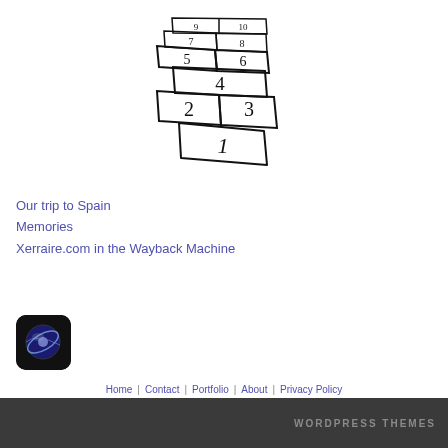[Figure (illustration): Hand-drawn hopscotch court with squares numbered 1 through 10, drawn in perspective view]
Our trip to Spain
Memories
Xerraire.com in the Wayback Machine
[Figure (logo): Globe/planet icon with orbital ring on black rounded square background]
Home | Contact | Portfolio | About | Privacy Policy
WORDPRESS THEMES